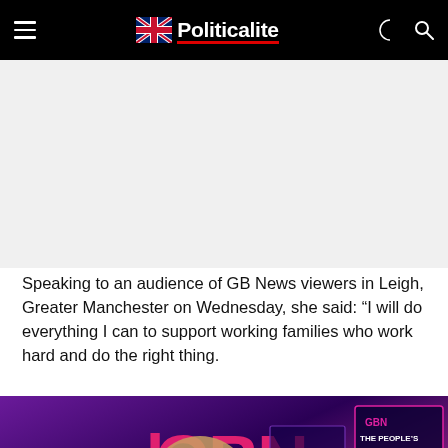Politicalite
[Figure (other): Advertisement/blank area]
Speaking to an audience of GB News viewers in Leigh, Greater Manchester on Wednesday, she said: “I will do everything I can to support working families who work hard and do the right thing.
[Figure (photo): Photo of a person appearing on GB News at the People's Forum event in Leigh, with pink and purple studio lighting and GBN branding visible]